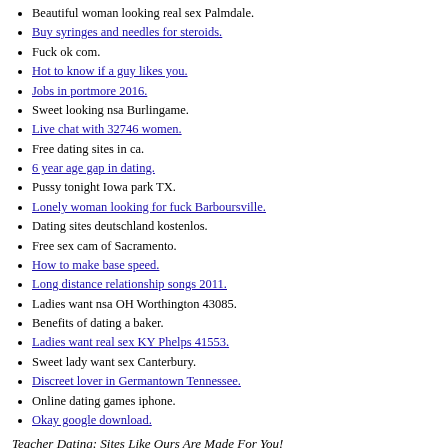Beautiful woman looking real sex Palmdale.
Buy syringes and needles for steroids.
Fuck ok com.
Hot to know if a guy likes you.
Jobs in portmore 2016.
Sweet looking nsa Burlingame.
Live chat with 32746 women.
Free dating sites in ca.
6 year age gap in dating.
Pussy tonight Iowa park TX.
Lonely woman looking for fuck Barboursville.
Dating sites deutschland kostenlos.
Free sex cam of Sacramento.
How to make base speed.
Long distance relationship songs 2011.
Ladies want nsa OH Worthington 43085.
Benefits of dating a baker.
Ladies want real sex KY Phelps 41553.
Sweet lady want sex Canterbury.
Discreet lover in Germantown Tennessee.
Online dating games iphone.
Okay google download.
Teacher Dating: Sites Like Ours Are Made For You!